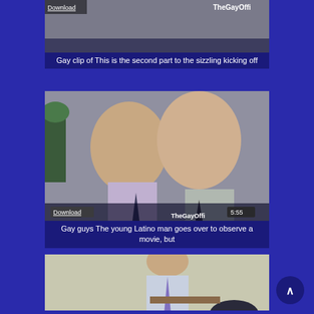[Figure (screenshot): Video thumbnail card 1: partial view of video with Download button and TheGayOffice watermark]
Gay clip of This is the second part to the sizzling kicking off
[Figure (photo): Video thumbnail card 2: two men in dress shirts and ties, duration 5:55, Download button, TheGayOffice watermark]
Gay guys The young Latino man goes over to observe a movie, but
[Figure (photo): Video thumbnail card 3: man in purple tie bending over, partial view]